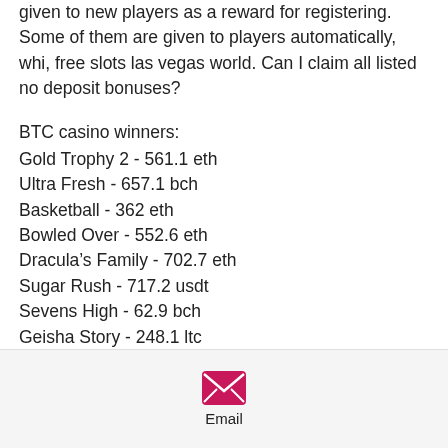given to new players as a reward for registering. Some of them are given to players automatically, whi, free slots las vegas world. Can I claim all listed no deposit bonuses?
BTC casino winners:
Gold Trophy 2 - 561.1 eth
Ultra Fresh - 657.1 bch
Basketball - 362 eth
Bowled Over - 552.6 eth
Dracula’s Family - 702.7 eth
Sugar Rush - 717.2 usdt
Sevens High - 62.9 bch
Geisha Story - 248.1 ltc
Valley of Pharaohs - 79.3 dog
Seasons - 549.6 ltc
Chinese Treasures - 532.7 ltc
Warlocks Book - 68.3 dog
Email